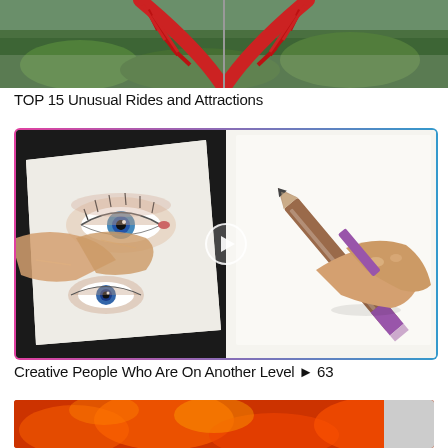[Figure (photo): Aerial view of a red arch bridge structure over green forest]
TOP 15 Unusual Rides and Attractions
[Figure (photo): Two-panel thumbnail with a play button overlay: left panel shows hands working on a detailed eye drawing on paper; right panel shows a colored pencil drawing on a sketchbook. Colorful pink/cyan gradient border around the composite image.]
Creative People Who Are On Another Level ▶ 63
[Figure (photo): Partial image at the bottom showing orange/red abstract image, partially cropped]